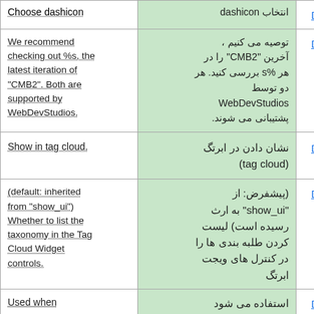| English | Persian | Link |
| --- | --- | --- |
| Choose dashicon | انتخاب dashicon | Details |
| We recommend checking out %s, the latest iteration of "CMB2". Both are supported by WebDevStudios. | توصیه می کنیم ، آخرین "CMB2" را در هر %s بررسی کنید. هر دو توسط WebDevStudios پشتیبانی می شوند. | Details |
| Show in tag cloud. | نشان دادن در ابرتگ (tag cloud) | Details |
| (default: inherited from "show_ui") Whether to list the taxonomy in the Tag Cloud Widget controls. | (پیشفرض: از "show_ui" به ارث رسیده است) لیست کردن طلبه بندی ها را در کنترل های ویجت ابرتگ | Details |
| Used when | استفاده می شود | Details |